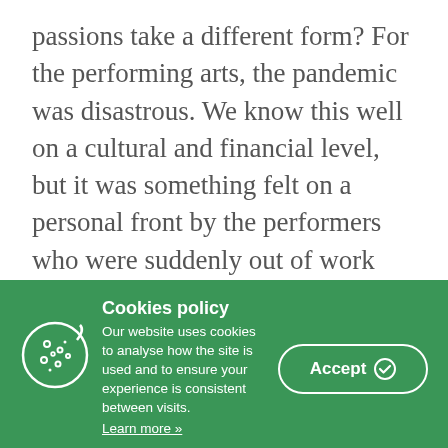passions take a different form? For the performing arts, the pandemic was disastrous. We know this well on a cultural and financial level, but it was something felt on a personal front by the performers who were suddenly out of work and cut off from doing what they love most. For Idrissa Camara, this predicament was only intensified by a foot infection – something he dubs "the worst thing that can happen to a professional dancer" – which left him not only unable to dance, but unable to walk too. Luckily for us, Camara (now fully healed), has channelled the anguish
[Figure (other): Cookies policy banner with green background, cookie icon (outline illustration), title 'Cookies policy', body text about website cookie usage, 'Learn more »' link, and an 'Accept' button with checkmark icon.]